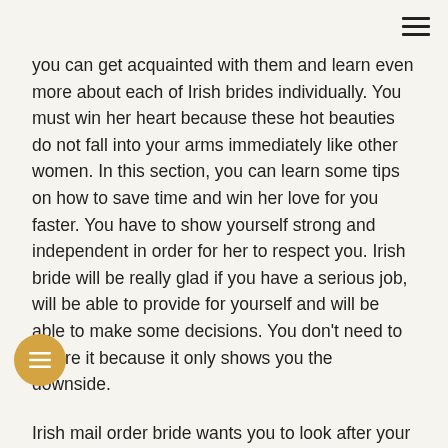[hamburger menu icon]
you can get acquainted with them and learn even more about each of Irish brides individually. You must win her heart because these hot beauties do not fall into your arms immediately like other women. In this section, you can learn some tips on how to save time and win her love for you faster. You have to show yourself strong and independent in order for her to respect you. Irish bride will be really glad if you have a serious job, will be able to provide for yourself and will be able to make some decisions. You don't need to ignore it because it only shows you the downside.
Irish mail order bride wants you to look after your home and she will not be pleased to know that your mom or sister is still actively involved in your life. She wants to be able to rely on you in a difficult moment, but you don't have to do any feats for her to prove to her that you are